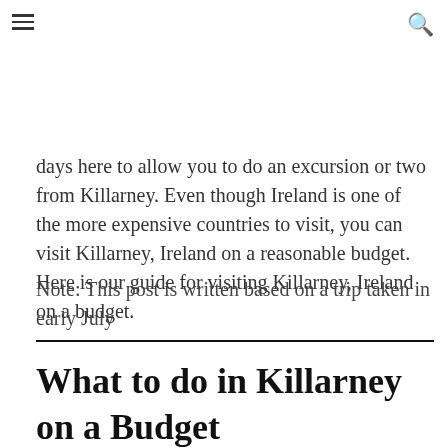at base to see the beautiful Irish countryside and to the iconic Ring of Kerry. We'd recommend at least 3
days here to allow you to do an excursion or two from Killarney. Even though Ireland is one of the more expensive countries to visit, you can visit Killarney, Ireland on a reasonable budget. Here is our guide for visiting Killarney, Ireland on a budget.
Note: This post is written based on a trip taken in early July
What to do in Killarney on a Budget